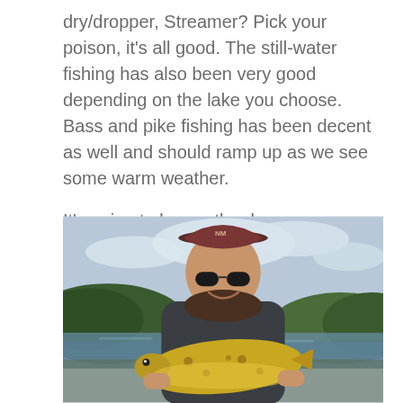dry/dropper, Streamer? Pick your poison, it's all good. The still-water fishing has also been very good depending on the lake you choose. Bass and pike fishing has been decent as well and should ramp up as we see some warm weather.
It's going to be another busy year so make plans accordingly. Give us a call if you need some assistance planning your trip.
[Figure (photo): A smiling woman wearing sunglasses and a maroon baseball cap holding a large trout fish, with a lake and forested hills in the background under a cloudy sky.]